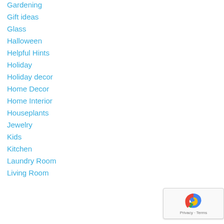Gardening
Gift ideas
Glass
Halloween
Helpful Hints
Holiday
Holiday decor
Home Decor
Home Interior
Houseplants
Jewelry
Kids
Kitchen
Laundry Room
Living Room